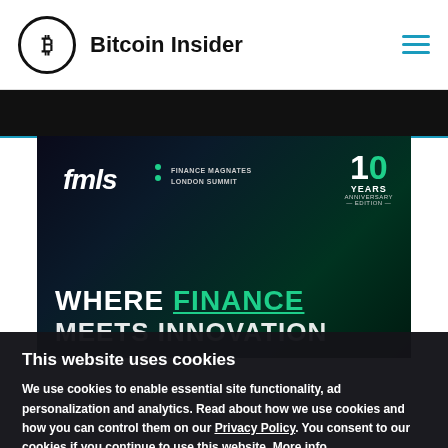Bitcoin Insider
[Figure (illustration): FMLS Finance Magnates London Summit event banner — dark background with green gradient, text 'WHERE FINANCE MEETS INNOVATION', 10 Years Anniversary Edition badge]
This website uses cookies
We use cookies to enable essential site functionality, ad personalization and analytics. Read about how we use cookies and how you can control them on our Privacy Policy. You consent to our cookies if you continue to use this website. More info
OK